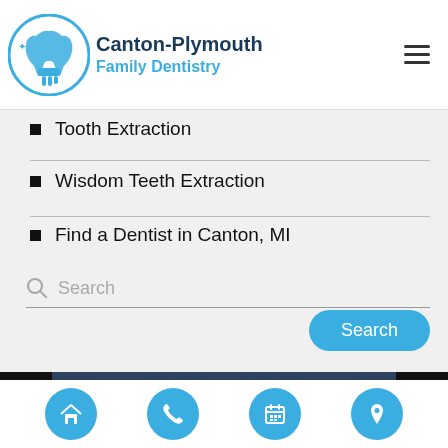Canton-Plymouth Family Dentistry
Tooth Extraction
Wisdom Teeth Extraction
Find a Dentist in Canton, MI
Search
Recent Posts